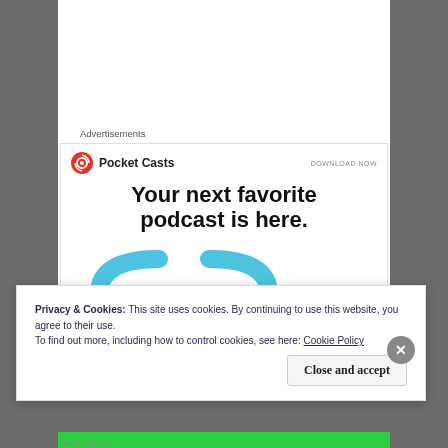Advertisements
[Figure (screenshot): Pocket Casts advertisement banner with logo, 'Your next favorite podcast is here.' tagline, and an illustration of headphones with a smartphone. DOWNLOAD NOW button in top right.]
Privacy & Cookies: This site uses cookies. By continuing to use this website, you agree to their use.
To find out more, including how to control cookies, see here: Cookie Policy
Close and accept